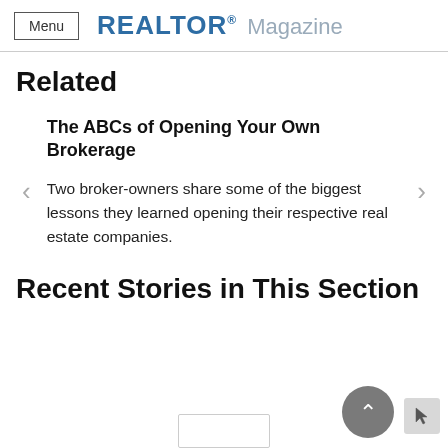Menu  REALTOR® Magazine
Related
The ABCs of Opening Your Own Brokerage
Two broker-owners share some of the biggest lessons they learned opening their respective real estate companies.
Recent Stories in This Section